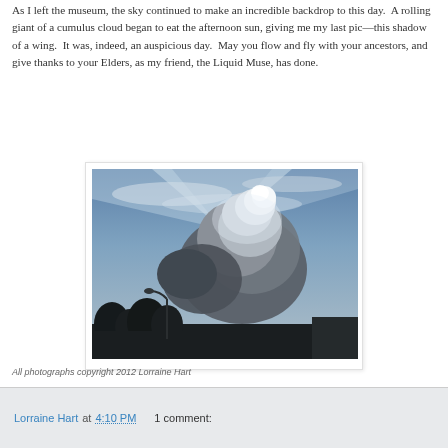As I left the museum, the sky continued to make an incredible backdrop to this day.  A rolling giant of a cumulus cloud began to eat the afternoon sun, giving me my last pic—this shadow of a wing.  It was, indeed, an auspicious day.  May you flow and fly with your ancestors, and give thanks to your Elders, as my friend, the Liquid Muse, has done.
[Figure (photo): Photograph of a dramatic sky with a large cumulus cloud blocking the afternoon sun, creating a shadow effect. Silhouettes of trees and a street lamp visible in the foreground against a blue sky with wispy clouds.]
All photographs copyright 2012 Lorraine Hart
Lorraine Hart at 4:10 PM   1 comment: